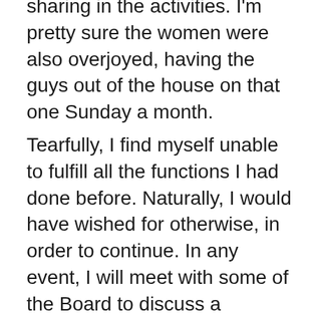sharing in the activities. I'm pretty sure the women were also overjoyed, having the guys out of the house on that one Sunday a month.
Tearfully, I find myself unable to fulfill all the functions I had done before. Naturally, I would have wished for otherwise, in order to continue. In any event, I will meet with some of the Board to discuss a turnover of authority. I understand there are New Unit Owners who are interested in affiliating with Men's Club and I welcome them with open arms.